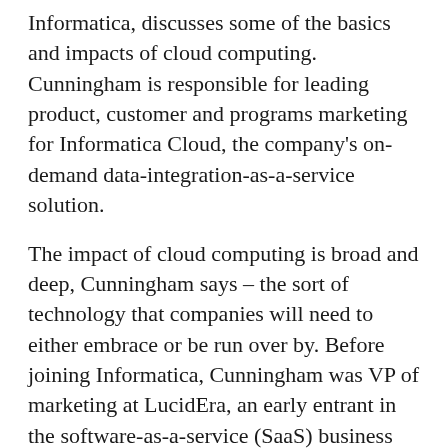Informatica, discusses some of the basics and impacts of cloud computing. Cunningham is responsible for leading product, customer and programs marketing for Informatica Cloud, the company's on-demand data-integration-as-a-service solution.
The impact of cloud computing is broad and deep, Cunningham says – the sort of technology that companies will need to either embrace or be run over by. Before joining Informatica, Cunningham was VP of marketing at LucidEra, an early entrant in the software-as-a-service (SaaS) business intelligence market. Prior to LucidEra, he led analytics product management and AppExchange data management partnerships at Salesforce.com. Cunningham also spent over seven years at Business Objects, where he managed product marketing for many of the company's primary business intelligence, data integration, operational